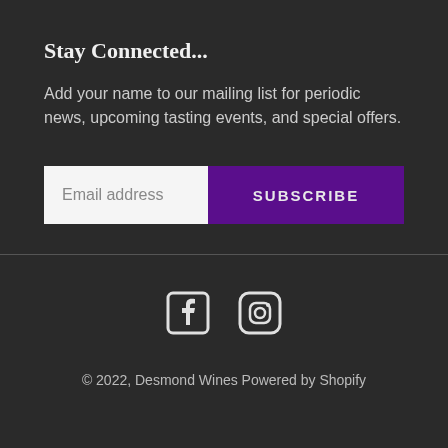Stay Connected...
Add your name to our mailing list for periodic news, upcoming tasting events, and special offers.
[Figure (screenshot): Email address input field with Subscribe button]
© 2022, Desmond Wines Powered by Shopify